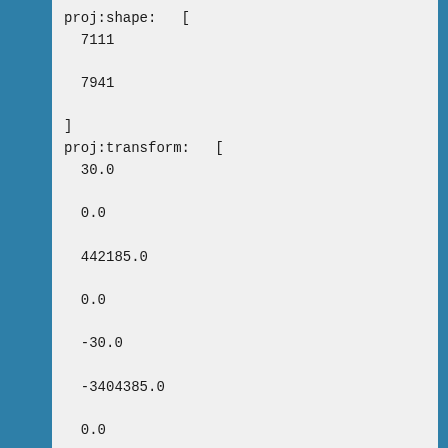proj:shape:   [
  7111

  7941

]
proj:transform:   [
  30.0

  0.0

  442185.0

  0.0

  -30.0

  -3404385.0

  0.0

  0.0

  1.0

]
title: ga_ls_wo_3_088082_1991-06-11_final
measurements:
  water:
    path: ga_ls_wo_3_088082_1991-06-11_fina